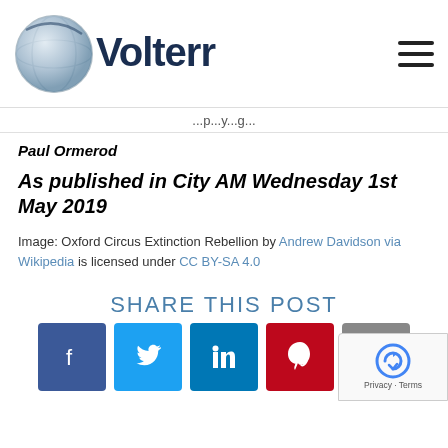[Figure (logo): Volterra company logo with globe graphic and dark blue text]
...p...y...g...
Paul Ormerod
As published in City AM Wednesday 1st May 2019
Image: Oxford Circus Extinction Rebellion by Andrew Davidson via Wikipedia is licensed under CC BY-SA 4.0
SHARE THIS POST
[Figure (infographic): Social share buttons: Facebook, Twitter, LinkedIn, Pinterest, Print]